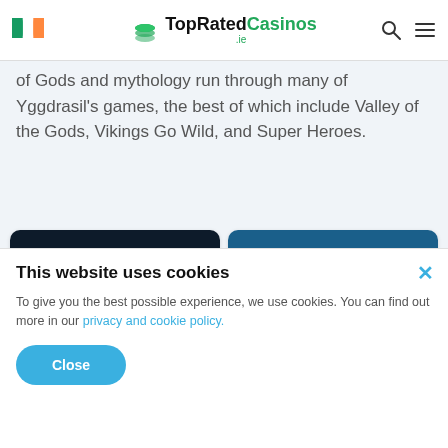TopRatedCasinos .ie
of Gods and mythology run through many of Yggdrasil's games, the best of which include Valley of the Gods, Vikings Go Wild, and Super Heroes.
[Figure (logo): Mega Slot casino logo — white text on dark navy background]
[Figure (logo): Play Frank casino logo — colourful text on teal background]
100% Up To €1000
€300 Bonus +200 Free Spins
This website uses cookies
To give you the best possible experience, we use cookies. You can find out more in our privacy and cookie policy.
Close